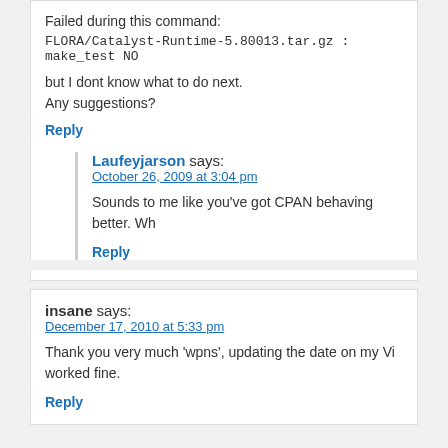Failed during this command:
FLORA/Catalyst-Runtime-5.80013.tar.gz : make_test NO
but I dont know what to do next.
Any suggestions?
Reply
Laufeyjarson says:
October 26, 2009 at 3:04 pm
Sounds to me like you've got CPAN behaving better. Wh
Reply
insane says:
December 17, 2010 at 5:33 pm
Thank you very much 'wpns', updating the date on my Vi worked fine.
Reply
Leave a Reply to Curtis
Click here to cancel reply.